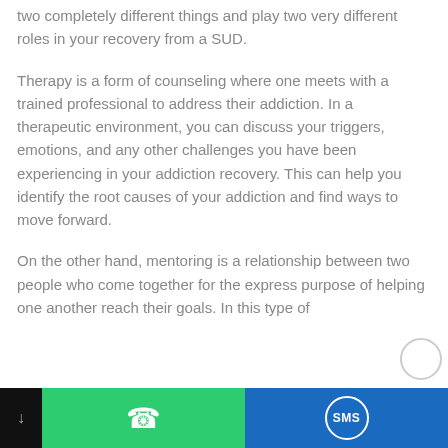two completely different things and play two very different roles in your recovery from a SUD.
Therapy is a form of counseling where one meets with a trained professional to address their addiction. In a therapeutic environment, you can discuss your triggers, emotions, and any other challenges you have been experiencing in your addiction recovery. This can help you identify the root causes of your addiction and find ways to move forward.
On the other hand, mentoring is a relationship between two people who come together for the express purpose of helping one another reach their goals. In this type of